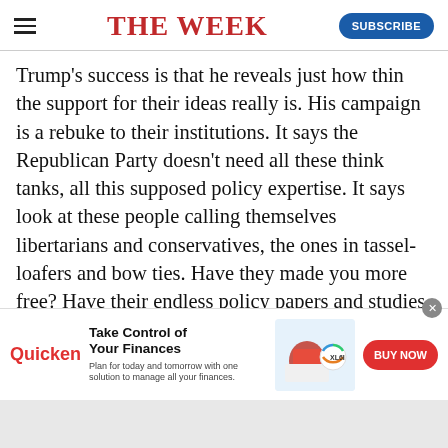THE WEEK
Trump's success is that he reveals just how thin the support for their ideas really is. His campaign is a rebuke to their institutions. It says the Republican Party doesn't need all these think tanks, all this supposed policy expertise. It says look at these people calling themselves libertarians and conservatives, the ones in tassel-loafers and bow ties. Have they made you more free? Have their endless policy papers and studies and books conserved anything for you? These people are worthless. They are defunct. You don't need them, and you're better off without them.
[Figure (infographic): Quicken advertisement banner: Take Control of Your Finances - Plan for today and tomorrow with one solution to manage all your finances. BUY NOW button.]